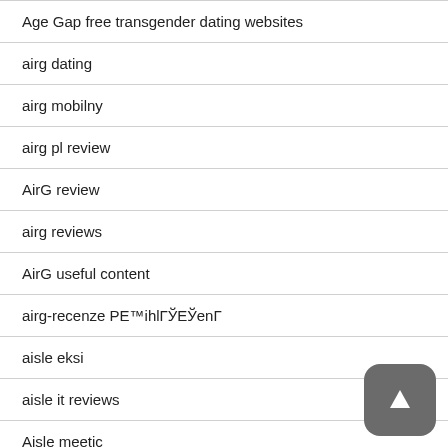Age Gap free transgender dating websites
airg dating
airg mobilny
airg pl review
AirG review
airg reviews
AirG useful content
airg-recenze PE™ihlГЎЕЎenГ
aisle eksi
aisle it reviews
Aisle meetic
aisle mobile
aisle mobile site